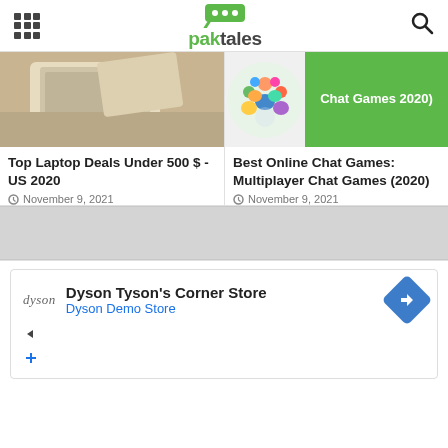paktales
[Figure (screenshot): Thumbnail image of a laptop in a cardboard box]
[Figure (screenshot): Thumbnail showing a circle of illustrated people and a green label reading Chat Games 2020)]
Top Laptop Deals Under 500 $ -US 2020
November 9, 2021
Best Online Chat Games: Multiplayer Chat Games (2020)
November 9, 2021
[Figure (other): Gray advertisement banner]
[Figure (other): Dyson Tyson's Corner Store advertisement card with Dyson logo, store name, navigation icon, and Dyson Demo Store subtitle]